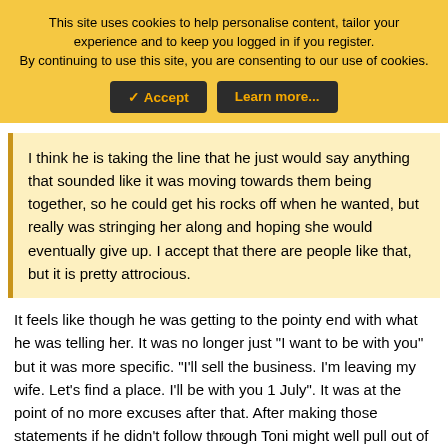This site uses cookies to help personalise content, tailor your experience and to keep you logged in if you register. By continuing to use this site, you are consenting to our use of cookies.
✓ Accept | Learn more...
I think he is taking the line that he just would say anything that sounded like it was moving towards them being together, so he could get his rocks off when he wanted, but really was stringing her along and hoping she would eventually give up. I accept that there are people like that, but it is pretty attrocious.
It feels like though he was getting to the pointy end with what he was telling her. It was no longer just "I want to be with you" but it was more specific. "I'll sell the business. I'm leaving my wife. Let's find a place. I'll be with you 1 July". It was at the point of no more excuses after that. After making those statements if he didn't follow through Toni might well pull out of the relationship
x